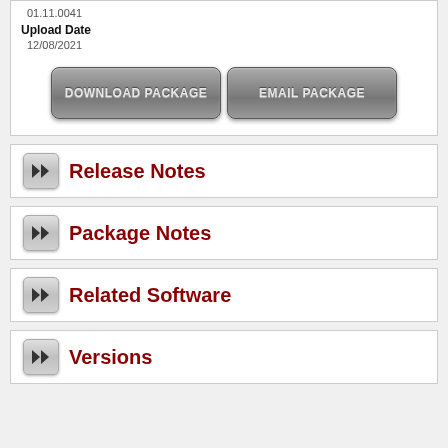01.11.0041
Upload Date
12/08/2021
[Figure (screenshot): Two buttons: DOWNLOAD PACKAGE and EMAIL PACKAGE, styled with gray gradient]
Release Notes
Package Notes
Related Software
Versions